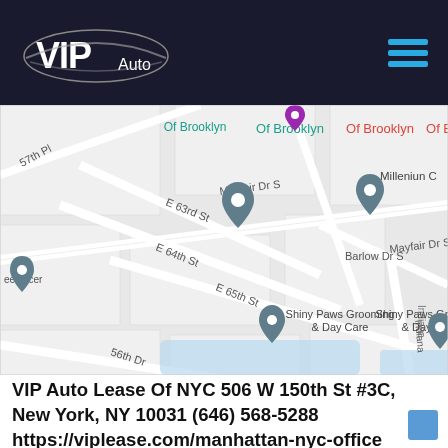VIP Auto — navigation header with logo and hamburger menu
[Figure (map): Google Maps screenshot showing a street map of a Brooklyn/Queens area neighborhood with roads including E 63rd St, E 64th St, E 65th St, Mayfair Dr S, Gaylord Dr S, Barlow Dr S, 57th Pl, 56th Dr, Indiana Ave. Map pins show locations for INeedNerds, Shiny Paws Grooming & Day Care, Millenium C, and other unnamed locations. Labels 'Of Brooklyn' appear in teal near top.]
VIP Auto Lease Of NYC 506 W 150th St #3C, New York, NY 10031 (646) 568-5288 https://viplease.com/manhattan-nyc-office